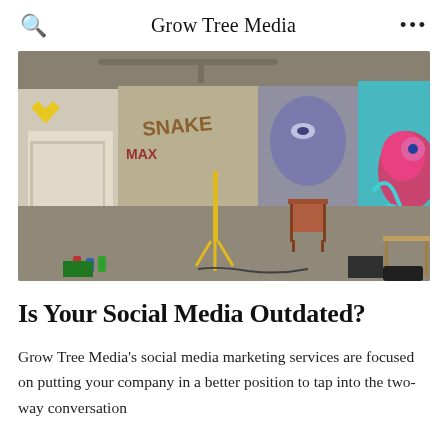Grow Tree Media
[Figure (photo): Interior room with graffiti-covered walls showing colorful street art murals including text 'SNAKE', a face, flowers, and abstract patterns. The room has chairs, canvases, spray cans on the floor, and large windows.]
Is Your Social Media Outdated?
Grow Tree Media's social media marketing services are focused on putting your company in a better position to tap into the two-way conversation